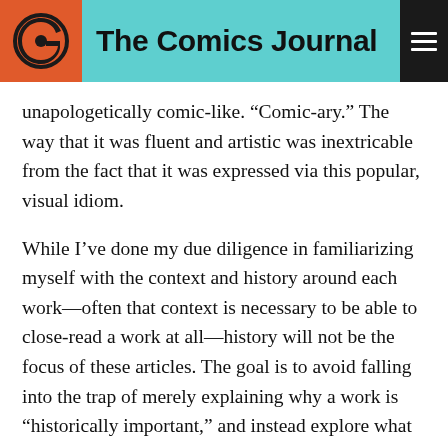The Comics Journal
unapologetically comic-like. “Comic-ary.” The way that it was fluent and artistic was inextricable from the fact that it was expressed via this popular, visual idiom.
While I’ve done my due diligence in familiarizing myself with the context and history around each work—often that context is necessary to be able to close-read a work at all—history will not be the focus of these articles. The goal is to avoid falling into the trap of merely explaining why a work is “historically important,” and instead explore what it gets fundamentally right about the comics medium; not whether it invented a technique or influenced a scene, but what makes it work, whether it was made yesterday or a hundred years ago. So while The Dark